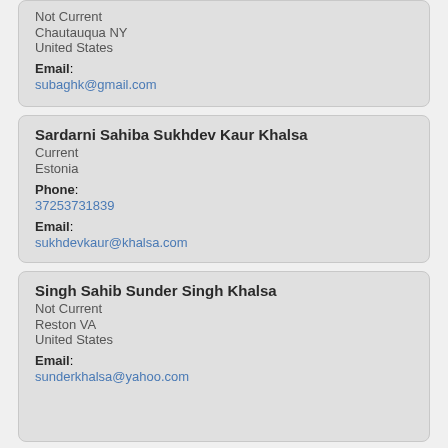Not Current
Chautauqua NY
United States
Email: subaghk@gmail.com
Sardarni Sahiba Sukhdev Kaur Khalsa
Current
Estonia
Phone: 37253731839
Email: sukhdevkaur@khalsa.com
Singh Sahib Sunder Singh Khalsa
Not Current
Reston VA
United States
Email: sunderkhalsa@yahoo.com
Sardarni Sahiba Swaran Kaur Khalsa